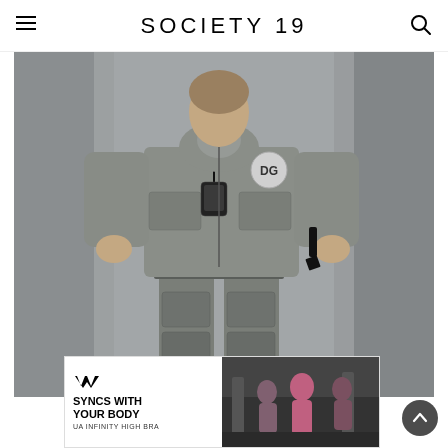SOCIETY 19
[Figure (photo): Fashion runway photo of a model wearing an all-grey utility/cargo outfit with multiple pockets, a DG logo patch, a black lanyard with a small bag, and large cargo pants. Grey blurred background.]
[Figure (photo): Under Armour advertisement banner: left side shows UA logo with bold text 'SYNCS WITH YOUR BODY' and 'UA INFINITY HIGH BRA'; right side shows a gym photo of women working out.]